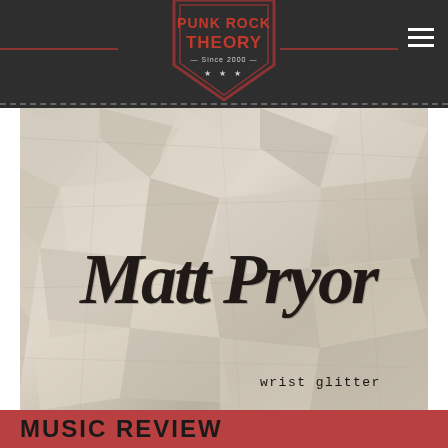PUNK ROCK THEORY — Since 2000 — ★ ★ ★
[Figure (photo): Matt Pryor album cover – handwritten 'Matt Pryor' signature in black on crumpled white paper background, with text 'wrist glitter' in bottom right]
MUSIC REVIEW
Matt Pryor – Wrist Glitter